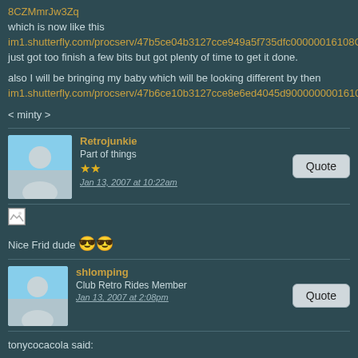8CZMmrJw3Zq
which is now like this
im1.shutterfly.com/procserv/47b5ce04b3127cce949a5f735dfc00000016108CZMmrJw3Zq
just got too finish a few bits but got plenty of time to get it done.

also I will be bringing my baby which will be looking different by then
im1.shutterfly.com/procserv/47b6ce10b3127cce8e6ed4045d90000000016108CZMmrJw3Zq

< minty >
Retrojunkie
Part of things
Jan 13, 2007 at 10:22am
Nice Frid dude 😎😎
shlomping
Club Retro Rides Member
Jan 13, 2007 at 2:08pm
tonycocacola said: